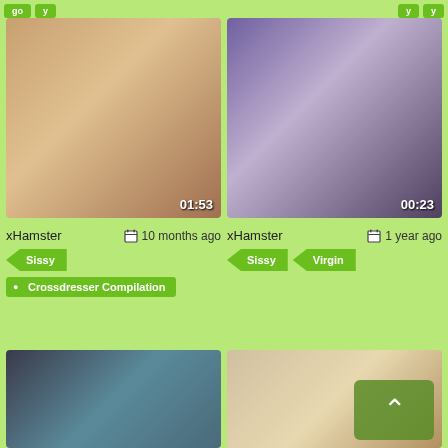[Figure (screenshot): Video thumbnail left showing duration 01:53]
[Figure (screenshot): Video thumbnail right showing duration 00:23]
xHamster   10 months ago
Sissy
Crossdresser Compilation
xHamster   1 year ago
Sissy
Virgin
[Figure (screenshot): Bottom left video thumbnail]
[Figure (screenshot): Bottom right video thumbnail with scroll-up button overlay]